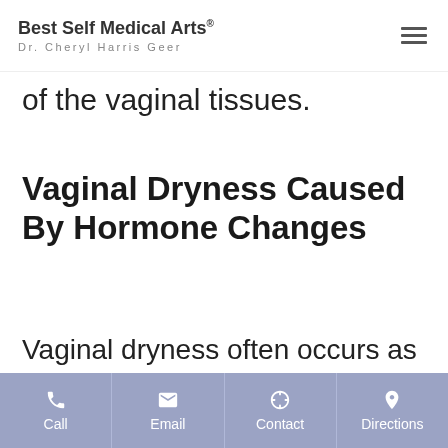Best Self Medical Arts Dr. Cheryl Harris Geer
of the vaginal tissues.
Vaginal Dryness Caused By Hormone Changes
Vaginal dryness often occurs as a result of a drop in estrogen levels. Estrogen is an essential hormone in
Call | Email | Contact | Directions